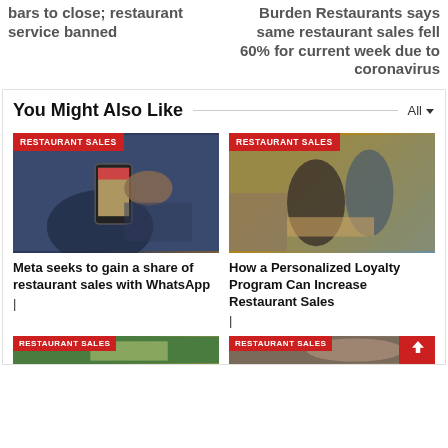bars to close; restaurant service banned
Burden Restaurants says same restaurant sales fell 60% for current week due to coronavirus
You Might Also Like
[Figure (photo): Person lying on couch using smartphone with food ordering app]
RESTAURANT SALES
Meta seeks to gain a share of restaurant sales with WhatsApp
|
[Figure (photo): Two men in a restaurant, one pouring a drink]
RESTAURANT SALES
How a Personalized Loyalty Program Can Increase Restaurant Sales
|
[Figure (photo): Bottom left article image with restaurant sales tag]
RESTAURANT SALES
[Figure (photo): Bottom right article image with restaurant sales tag]
RESTAURANT SALES